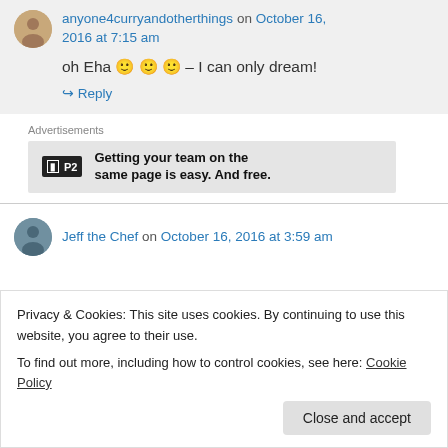anyone4curryandotherthings on October 16, 2016 at 7:15 am
oh Eha 🙂 🙂 🙂 – I can only dream!
↳ Reply
Advertisements
[Figure (other): P2 advertisement: Getting your team on the same page is easy. And free.]
Jeff the Chef on October 16, 2016 at 3:59 am
Privacy & Cookies: This site uses cookies. By continuing to use this website, you agree to their use.
To find out more, including how to control cookies, see here: Cookie Policy
Close and accept